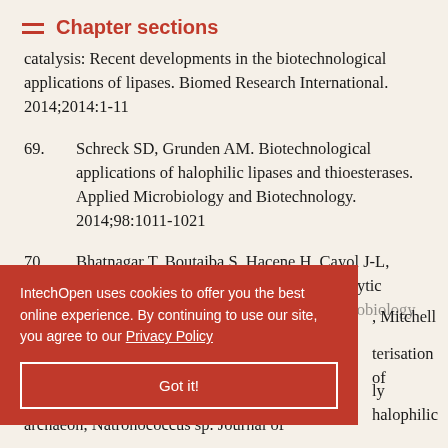Chapter sections
catalysis: Recent developments in the biotechnological applications of lipases. Biomed Research International. 2014;2014:1-11
69. Schreck SD, Grunden AM. Biotechnological applications of halophilic lipases and thioesterases. Applied Microbiology and Biotechnology. 2014;98:1011-1021
70. Bhatnagar T, Boutaiba S, Hacene H, Cayol J-L, Fardeau M-L, Ollivier B, Baratti JC. Lipolytic activity from Halobacteria: Screening and [microbiology]
IntechOpen uses cookies to offer you the best online experience. By continuing to use our site, you agree to our Privacy Policy
Got it!
[Mitchell] characterisation of [extremely] halophilic archaeon, Natronococcus sp. Journal of